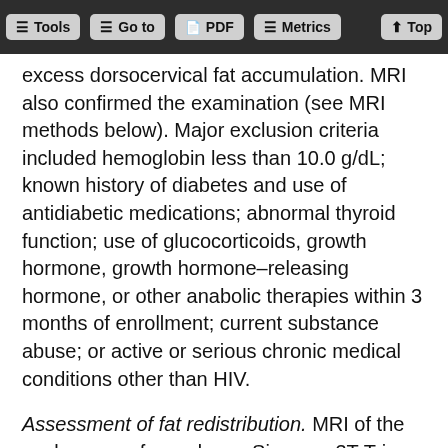Tools | Go to | PDF | Metrics | Top
excess dorsocervical fat accumulation. MRI also confirmed the examination (see MRI methods below). Major exclusion criteria included hemoglobin less than 10.0 g/dL; known history of diabetes and use of antidiabetic medications; abnormal thyroid function; use of glucocorticoids, growth hormone, growth hormone–releasing hormone, or other anabolic therapies within 3 months of enrollment; current substance abuse; or active or serious chronic medical conditions other than HIV.
Assessment of fat redistribution. MRI of the neck was performed on a Siemens 3T Trio magnetic resonance system using phased-array neck and body matrix coils. A volumetric 3D Dixon gradient-echo multiecho pulse sequence with 6 echo times